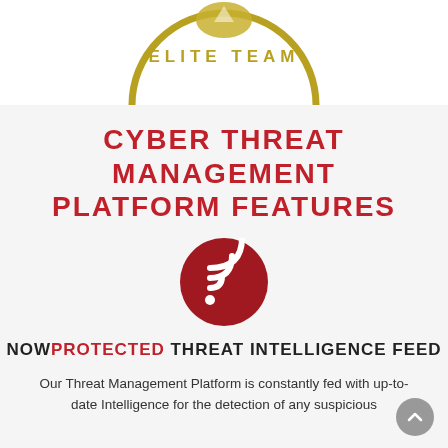[Figure (logo): Partial circular logo with gold text 'ELITE TEAM' on a white background, top portion visible]
CYBER THREAT MANAGEMENT PLATFORM FEATURES
[Figure (illustration): Dark red circle icon containing a white WiFi/RSS feed symbol]
NOWPROTECTED THREAT INTELLIGENCE FEED
Our Threat Management Platform is constantly fed with up-to-date Intelligence for the detection of any suspicious